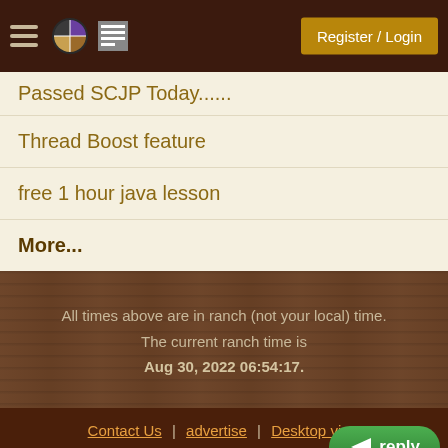Register / Login
Passed SCJP Today......
Thread Boost feature
free 1 hour java lesson
More...
All times above are in ranch (not your local) time. The current ranch time is Aug 30, 2022 06:54:17.
Contact Us | advertise | Desktop view
Copyright © 1998-2022 paul wheaton , m...